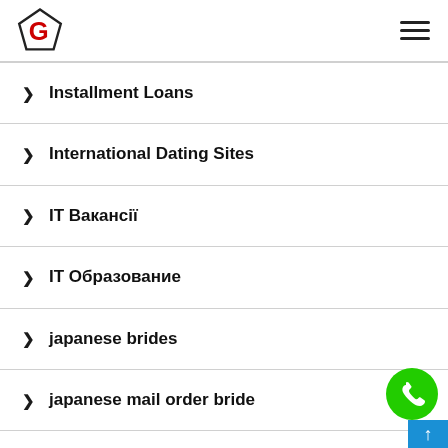G logo / hamburger menu
Installment Loans
International Dating Sites
IT Вакансії
IT Образование
japanese brides
japanese mail order bride
Lataa Dll